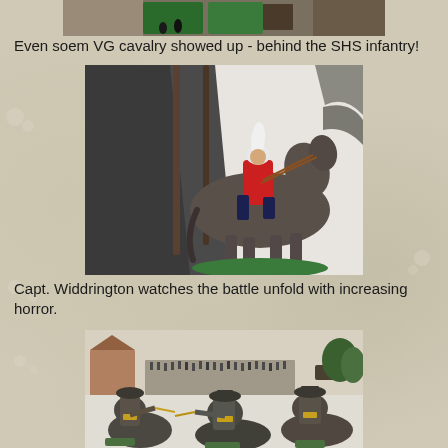[Figure (photo): Top partial photo showing a wargaming table with miniature soldiers and game pieces, partially visible at the top of the page]
Even soem VG cavalry showed up - behind the SHS infantry!
[Figure (photo): A painted metal toy soldier figurine of a cavalry soldier in red jacket and white plumed helmet, riding a dark grey horse, mounted on a green base. Dark fabric/tent visible behind.]
Capt. Widdrington watches the battle unfold with increasing horror.
[Figure (photo): Wargaming scene showing the backs of several cavalry figurines in grey/dark uniforms with gold details, looking out over a battlefield tableau with buildings and many infantry figures in the background.]